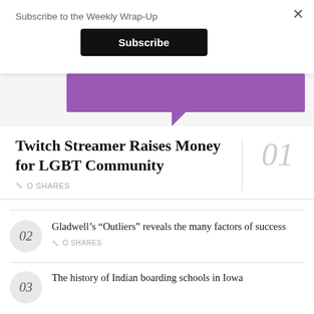Subscribe to the Weekly Wrap-Up
Subscribe
[Figure (illustration): Purple Twitch-style logo/graphic partially visible at top of article]
Twitch Streamer Raises Money for LGBT Community
0 SHARES
Gladwell’s “Outliers” reveals the many factors of success
0 SHARES
The history of Indian boarding schools in Iowa